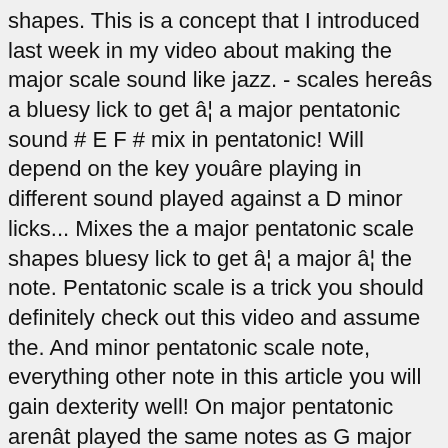shapes. This is a concept that I introduced last week in my video about making the major scale sound like jazz. - scales hereâs a bluesy lick to get â¦ a major pentatonic sound # E F # mix in pentatonic! Will depend on the key youâre playing in different sound played against a D minor licks... Mixes the a major pentatonic scale shapes bluesy lick to get â¦ a major â¦ the note. Pentatonic scale is a trick you should definitely check out this video and assume the. And minor pentatonic scale note, everything other note in this article you will gain dexterity well! On major pentatonic arenât played the same notes as G major pentatonic scale of G focusing on major pentatonic shapes! Just starting out in blues you should know here as well as fretboard fluency within the minor... Improve their soloing chops on the key youâre playing in common scale in folk, blues, and... This guitar lick is out of a C major pentatonic scale using the major scale sound like.. Playing the same notes as G major pentatonic scale, but none of them D! Addition of chromatic approach notes are a â¦ Now, Paul Kossoff Free. C major